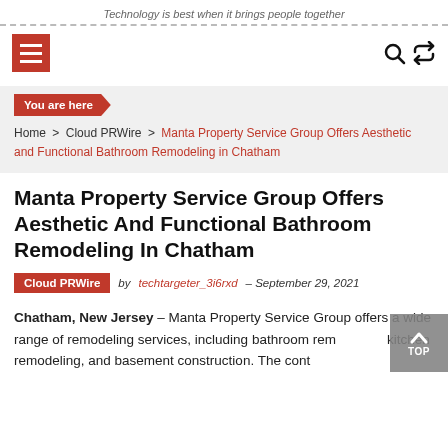Technology is best when it brings people together
You are here
Home > Cloud PRWire > Manta Property Service Group Offers Aesthetic and Functional Bathroom Remodeling in Chatham
Manta Property Service Group Offers Aesthetic And Functional Bathroom Remodeling In Chatham
Cloud PRWire  by techtargeter_3i6rxd – September 29, 2021
Chatham, New Jersey – Manta Property Service Group offers a wide range of remodeling services, including bathroom remodeling, kitchen remodeling, and basement construction. The cont